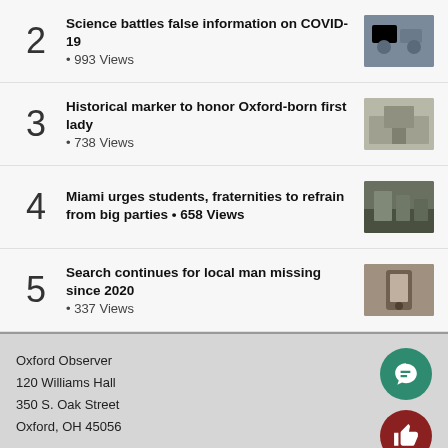Science battles false information on COVID-19 • 993 Views
Historical marker to honor Oxford-born first lady • 738 Views
Miami urges students, fraternities to refrain from big parties • 658 Views
Search continues for local man missing since 2020 • 337 Views
Oxford Observer
120 Williams Hall
350 S. Oak Street
Oxford, OH 45056

(513) 529-0156

© 2022 • FLEX WordPress Theme by SNO • Log in